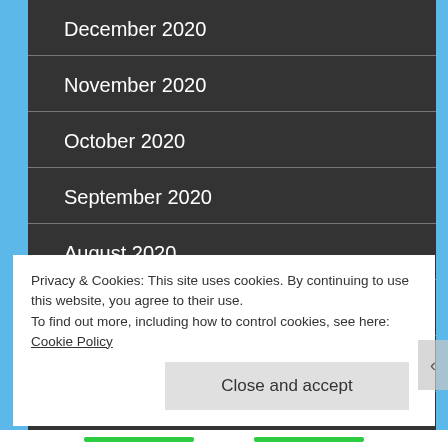December 2020
November 2020
October 2020
September 2020
August 2020
July 2020
June 2020
Privacy & Cookies: This site uses cookies. By continuing to use this website, you agree to their use.
To find out more, including how to control cookies, see here: Cookie Policy
Close and accept